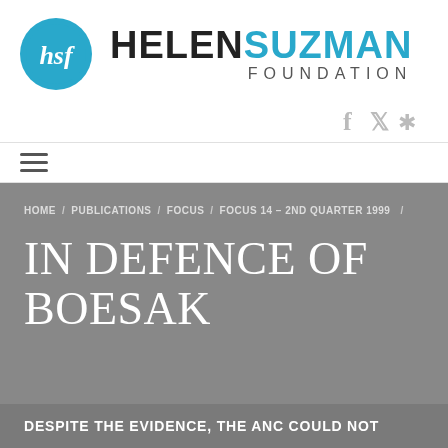[Figure (logo): Helen Suzman Foundation logo: circular teal badge with 'hsf' script on left, bold text 'HELEN' in black and 'SUZMAN' in teal uppercase, 'FOUNDATION' in spaced caps below]
[Figure (infographic): Social media icons: Facebook (f), Twitter (bird), and settings/gear icon in grey]
[Figure (infographic): Hamburger menu icon with three horizontal lines]
HOME / PUBLICATIONS / FOCUS / FOCUS 14 – 2ND QUARTER 1999 /
IN DEFENCE OF BOESAK
DESPITE THE EVIDENCE, THE ANC COULD NOT